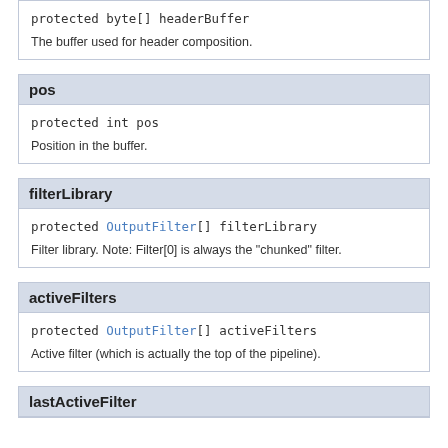| protected byte[] headerBuffer |
| The buffer used for header composition. |
pos
| protected int pos |
| Position in the buffer. |
filterLibrary
| protected OutputFilter[] filterLibrary |
| Filter library. Note: Filter[0] is always the "chunked" filter. |
activeFilters
| protected OutputFilter[] activeFilters |
| Active filter (which is actually the top of the pipeline). |
lastActiveFilter